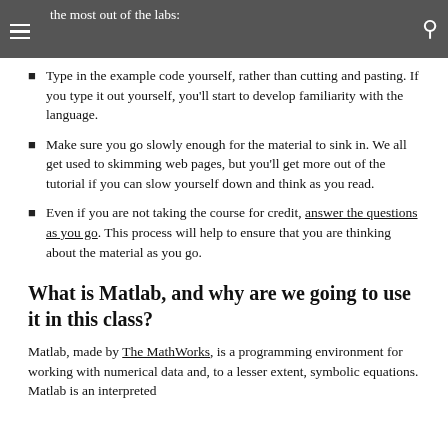the most out of the labs:
Type in the example code yourself, rather than cutting and pasting. If you type it out yourself, you'll start to develop familiarity with the language.
Make sure you go slowly enough for the material to sink in. We all get used to skimming web pages, but you'll get more out of the tutorial if you can slow yourself down and think as you read.
Even if you are not taking the course for credit, answer the questions as you go. This process will help to ensure that you are thinking about the material as you go.
What is Matlab, and why are we going to use it in this class?
Matlab, made by The MathWorks, is a programming environment for working with numerical data and, to a lesser extent, symbolic equations. Matlab is an interpreted